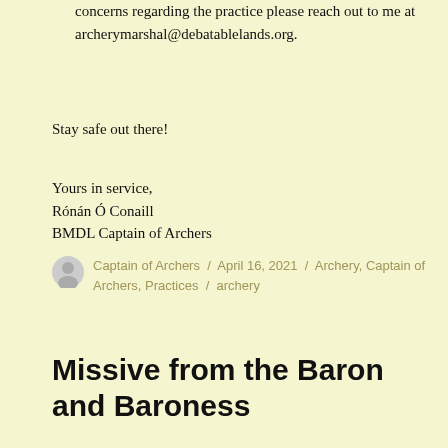concerns regarding the practice please reach out to me at archerymarshal@debatablelands.org.
Stay safe out there!
Yours in service,
Rónán Ó Conaill
BMDL Captain of Archers
Captain of Archers / April 16, 2021 / Archery, Captain of Archers, Practices / archery
Missive from the Baron and Baroness